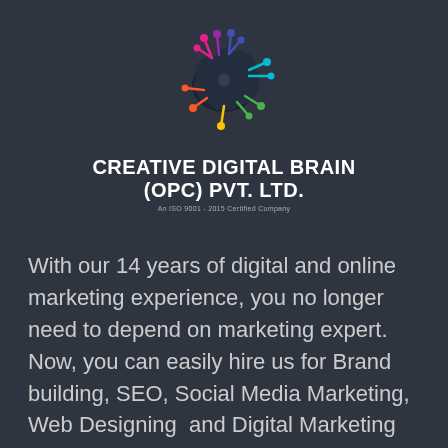[Figure (logo): Creative Digital Brain logo — colorful neural/brain network graphic with pink, yellow, orange, blue, and green nodes and lines on dark background]
CREATIVE DIGITAL BRAIN (OPC) PVT. LTD.
An ISO 9001 - 2015 Certified Company
With our 14 years of digital and online marketing experience, you no longer need to depend on marketing expert. Now, you can easily hire us for Brand building, SEO, Social Media Marketing, Web Designing  and Digital Marketing